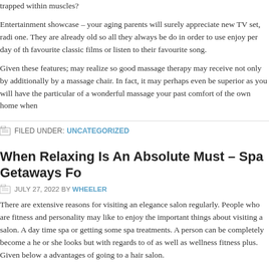trapped within muscles?
Entertainment showcase – your aging parents will surely appreciate new TV set, radi one. They are already old so all they always be do in order to use enjoy per day of th favourite classic films or listen to their favourite song.
Given these features; may realize so good massage therapy may receive not only by additionally by a massage chair. In fact, it may perhaps even be superior as you will have the particular of a wonderful massage your past comfort of the own home when
FILED UNDER: UNCATEGORIZED
When Relaxing Is An Absolute Must – Spa Getaways Fo
JULY 27, 2022 BY WHEELER
There are extensive reasons for visiting an elegance salon regularly. People who are fitness and personality may like to enjoy the important things about visiting a salon. A day time spa or getting some spa treatments. A person can be completely become a he or she looks but with regards to of as well as wellness fitness plus. Given below a advantages of going to a hair salon.
It is a breeze to get frequent treatments from a robotic recliner. [korean chars] has impacted the They now contain hundreds numerous variations of massages. Almost all this is pres